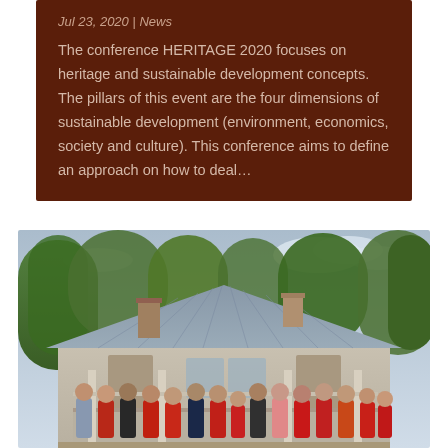Jul 23, 2020 | News
The conference HERITAGE 2020 focuses on heritage and sustainable development concepts. The pillars of this event are the four dimensions of sustainable development (environment, economics, society and culture). This conference aims to define an approach on how to deal...
[Figure (photo): Group photo of conference attendees standing in front of a historic wooden house with a metal roof and two chimneys, surrounded by trees.]